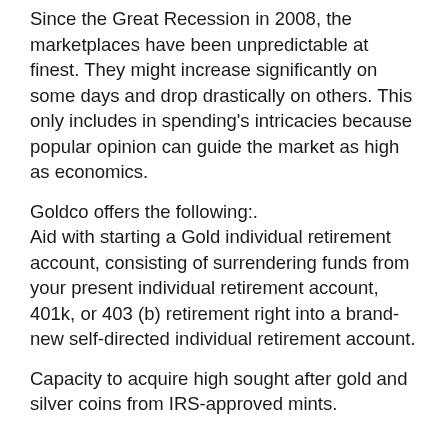Since the Great Recession in 2008, the marketplaces have been unpredictable at finest. They might increase significantly on some days and drop drastically on others. This only includes in spending's intricacies because popular opinion can guide the market as high as economics.
Goldco offers the following:. Aid with starting a Gold individual retirement account, consisting of surrendering funds from your present individual retirement account, 401k, or 403 (b) retirement right into a brand-new self-directed individual retirement account.
Capacity to acquire high sought after gold and silver coins from IRS-approved mints.